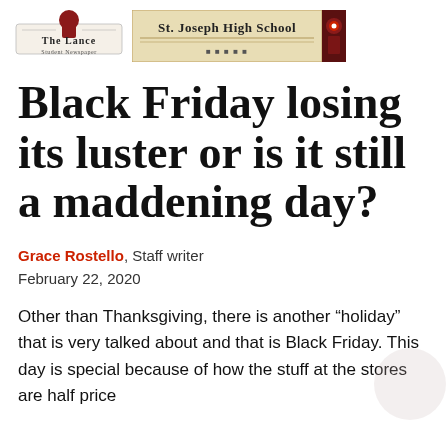The Lance - St. Joseph High School
Black Friday losing its luster or is it still a maddening day?
Grace Rostello, Staff writer
February 22, 2020
Other than Thanksgiving, there is another “holiday” that is very talked about and that is Black Friday. This day is special because of how the stuff at the stores are half price